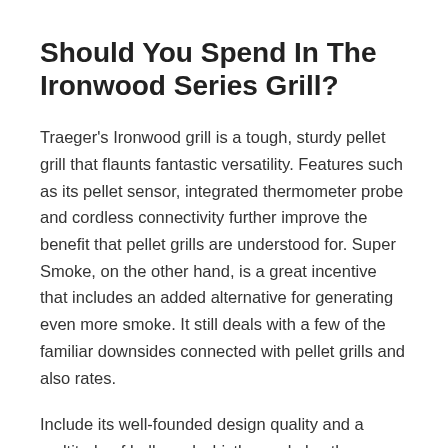Should You Spend In The Ironwood Series Grill?
Traeger's Ironwood grill is a tough, sturdy pellet grill that flaunts fantastic versatility. Features such as its pellet sensor, integrated thermometer probe and cordless connectivity further improve the benefit that pellet grills are understood for. Super Smoke, on the other hand, is a great incentive that includes an added alternative for generating even more smoke. It still deals with a few of the familiar downsides connected with pellet grills and also rates.
Include its well-founded design quality and a multitude of bells and whistles and also the Ironwood grill makes grilling practically as very